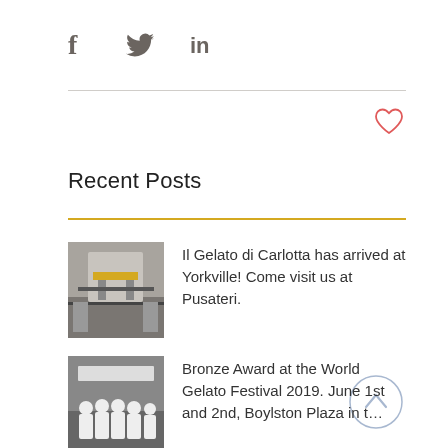[Figure (other): Social share icons: Facebook (f), Twitter (bird), LinkedIn (in)]
[Figure (other): Heart (like/favorite) icon outlined in red/coral]
Recent Posts
[Figure (photo): Thumbnail photo of a gelato cart/truck on a city street at Yorkville]
Il Gelato di Carlotta has arrived at Yorkville! Come visit us at Pusateri.
[Figure (other): Up/chevron arrow button in a light blue circle]
[Figure (photo): Thumbnail photo of group of people in white at Bronze Award World Gelato Festival 2019]
Bronze Award at the World Gelato Festival 2019. June 1st and 2nd, Boylston Plaza in t...